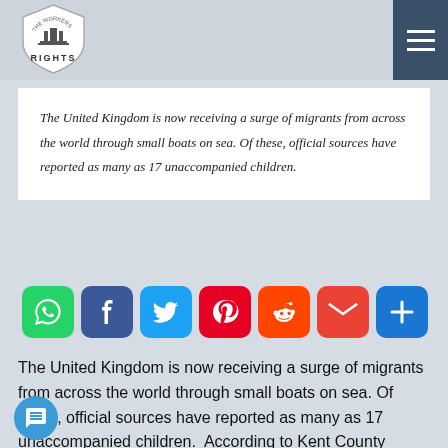The Workers Rights
The United Kingdom is now receiving a surge of migrants from across the world through small boats on sea. Of these, official sources have reported as many as 17 unaccompanied children.
[Figure (infographic): Social sharing icons: WhatsApp, Facebook, Twitter, Pinterest, Reddit, Gmail, Share+]
The United Kingdom is now receiving a surge of migrants from across the world through small boats on sea. Of these, official sources have reported as many as 17 unaccompanied children.  According to Kent County Council (KCC), as many as 23 under 18s have now been taken into care arriving on its shores this